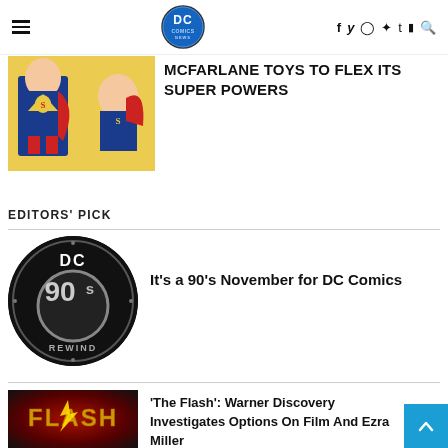DC Comics News — navigation bar with hamburger menu, DC logo, social icons (f, twitter, instagram, pinterest, tumblr, youtube, search)
[Figure (photo): Partially visible article thumbnail showing Superman action figures and comic art]
McFarlane Toys to Flex Its SUPER POWERS
EDITORS' PICK
[Figure (logo): DC 90s Rewind circular black badge logo]
It's a 90's November for DC Comics
[Figure (photo): The Flash movie poster thumbnail with red and gold lightning bolt logo]
'The Flash': Warner Discovery Investigates Options On Film And Ezra Miller